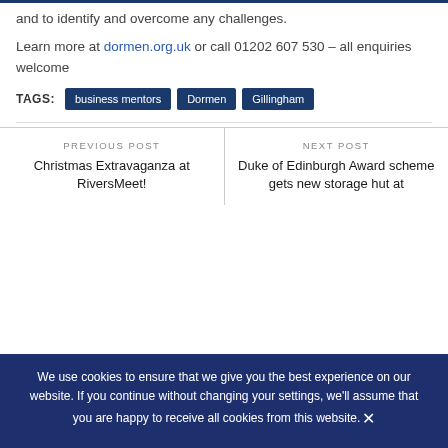through decision making, and to identify and overcome any challenges.
Learn more at dormen.org.uk or call 01202 607 530 – all enquiries welcome
TAGS: business mentors  Dormen  Gillingham
PREVIOUS POST
Christmas Extravaganza at RiversMeet!
NEXT POST
Duke of Edinburgh Award scheme gets new storage hut at
We use cookies to ensure that we give you the best experience on our website. If you continue without changing your settings, we'll assume that you are happy to receive all cookies from this website.